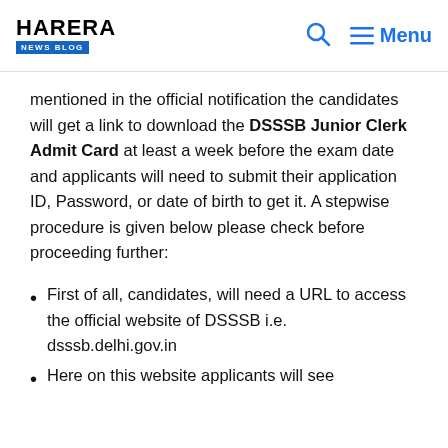HARERA NEWS BLOG
mentioned in the official notification the candidates will get a link to download the DSSSB Junior Clerk Admit Card at least a week before the exam date and applicants will need to submit their application ID, Password, or date of birth to get it. A stepwise procedure is given below please check before proceeding further:
First of all, candidates, will need a URL to access the official website of DSSSB i.e. dsssb.delhi.gov.in
Here on this website applicants will see